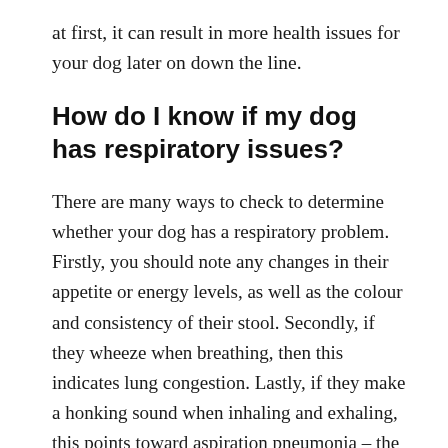at first, it can result in more health issues for your dog later on down the line.
How do I know if my dog has respiratory issues?
There are many ways to check to determine whether your dog has a respiratory problem. Firstly, you should note any changes in their appetite or energy levels, as well as the colour and consistency of their stool. Secondly, if they wheeze when breathing, then this indicates lung congestion. Lastly, if they make a honking sound when inhaling and exhaling, this points toward aspiration pneumonia – the fluid that has been sucked into the lungs instead of out through the nose or mouth.
Canine owners must be aware of these symptoms. It could signify an underlying complication such as laryngeal